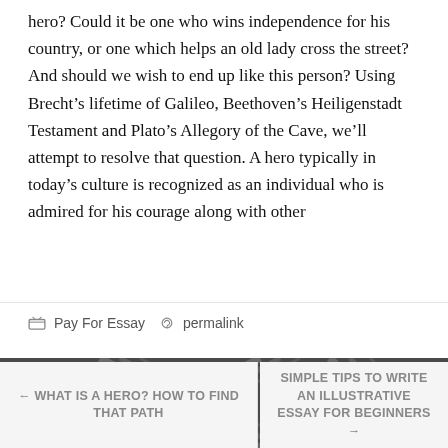hero? Could it be one who wins independence for his country, or one which helps an old lady cross the street? And should we wish to end up like this person? Using Brecht's lifetime of Galileo, Beethoven's Heiligenstadt Testament and Plato's Allegory of the Cave, we'll attempt to resolve that question. A hero typically in today's culture is recognized as an individual who is admired for his courage along with other
Pay For Essay  permalink
[Figure (illustration): Dark grey section with diagonal white lines forming an X or chevron pattern]
← WHAT IS A HERO? HOW TO FIND THAT PATH
SIMPLE TIPS TO WRITE AN ILLUSTRATIVE ESSAY FOR BEGINNERS →